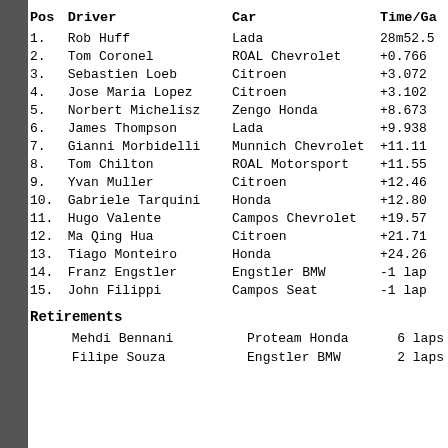| Pos | Driver | Car | Time/Ga |
| --- | --- | --- | --- |
| 1. | Rob Huff | Lada | 28m52.5 |
| 2. | Tom Coronel | ROAL Chevrolet | +0.766 |
| 3. | Sebastien Loeb | Citroen | +3.072 |
| 4. | Jose Maria Lopez | Citroen | +3.102 |
| 5. | Norbert Michelisz | Zengo Honda | +8.673 |
| 6. | James Thompson | Lada | +9.938 |
| 7. | Gianni Morbidelli | Munnich Chevrolet | +11.11 |
| 8. | Tom Chilton | ROAL Motorsport | +11.55 |
| 9. | Yvan Muller | Citroen | +12.46 |
| 10. | Gabriele Tarquini | Honda | +12.80 |
| 11. | Hugo Valente | Campos Chevrolet | +19.57 |
| 12. | Ma Qing Hua | Citroen | +21.71 |
| 13. | Tiago Monteiro | Honda | +24.26 |
| 14. | Franz Engstler | Engstler BMW | -1 lap |
| 15. | John Filippi | Campos Seat | -1 lap |
Retirements
| Mehdi Bennani | Proteam Honda | 6 laps |
| Filipe Souza | Engstler BMW | 2 laps |